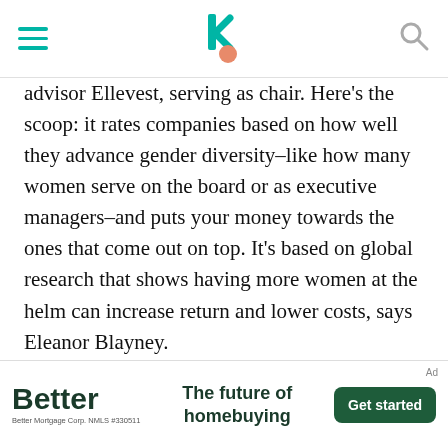[navigation header with hamburger menu, logo, and search icon]
advisor Ellevest, serving as chair. Here's the scoop: it rates companies based on how well they advance gender diversity–like how many women serve on the board or as executive managers–and puts your money towards the ones that come out on top. It's based on global research that shows having more women at the helm can increase return and lower costs, says Eleanor Blayney.
As for the results? During the second quarter of 2021, the Pax Ellevate Global Women's Leadership Fund Institution share class (PXWIX) outperformed the MSCI World Index (World Index). During the period, the Fund crossed the seven-year milestone since adopting a
[Figure (infographic): Better mortgage advertisement banner. Shows 'Better' logo in bold dark green, tagline 'The future of homebuying', and a 'Get started' green button. Small text 'Better Mortgage Corp. NMLS #330511'. Labeled 'Ad'.]